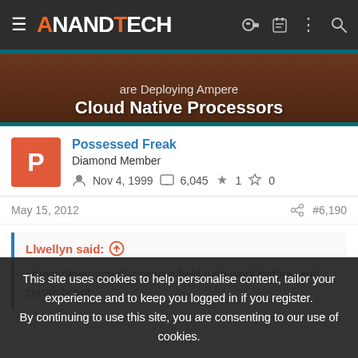AnandTech navigation header
[Figure (screenshot): Hero image with text 'are Deploying Ampere Cloud Native Processors' on dark brown background]
Possessed Freak
Diamond Member
Nov 4, 1999  6,045  1  0
May 15, 2012  #6,190
Llwellyn said: ↑

I have never actually seen a field rush work before, and certainly not
This site uses cookies to help personalise content, tailor your experience and to keep you logged in if you register.
By continuing to use this site, you are consenting to our use of cookies.